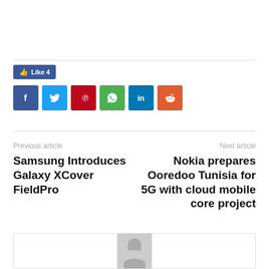[Figure (other): Social share bar with Like button showing count 4, and 6 colored icon buttons for Facebook, Twitter, Pinterest, WhatsApp, LinkedIn, Reddit]
Previous article
Next article
Samsung Introduces Galaxy XCover FieldPro
Nokia prepares Ooredoo Tunisia for 5G with cloud mobile core project
[Figure (other): Author avatar placeholder box with grey silhouette icon]